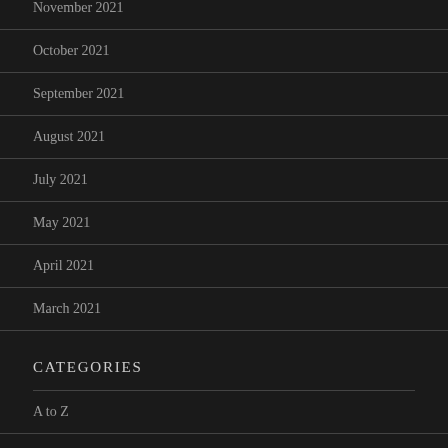November 2021
October 2021
September 2021
August 2021
July 2021
May 2021
April 2021
March 2021
CATEGORIES
A to Z
Column
Film